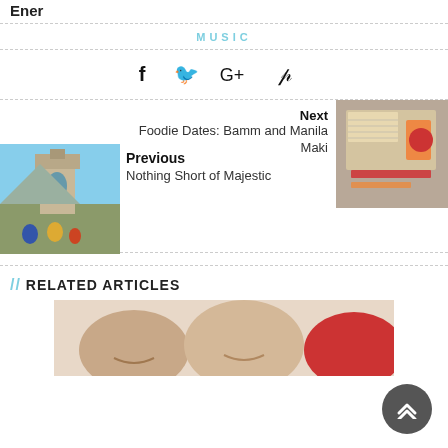Ener
MUSIC
[Figure (infographic): Social sharing icons: Facebook, Twitter, Google+, Pinterest]
Next
Foodie Dates: Bamm and Manila Maki
[Figure (photo): Photo of a restaurant menu with food items]
Previous
Nothing Short of Majestic
[Figure (photo): Photo of people at a historic church bell tower with a mountain in background]
// RELATED ARTICLES
[Figure (photo): Photo of people smiling, partial view showing faces and a red shirt]